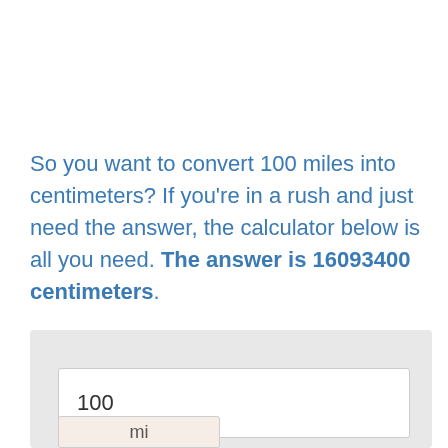So you want to convert 100 miles into centimeters? If you're in a rush and just need the answer, the calculator below is all you need. The answer is 16093400 centimeters.
[Figure (screenshot): A calculator widget with an input box showing '100' and a dropdown field partially visible showing 'mi' label, on a light gray background.]